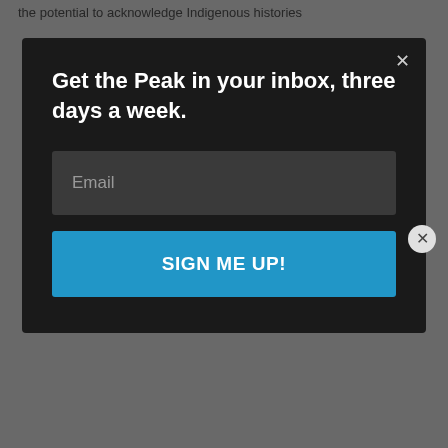the potential to acknowledge Indigenous histories
Get the Peak in your inbox, three days a week.
Email
SIGN ME UP!
understanding of place-based relationships and ongoing impacts of settler colonialism; to learn of Indigenous peoples' roles in and relations to place, the way Indigenous people perceive and interact with the